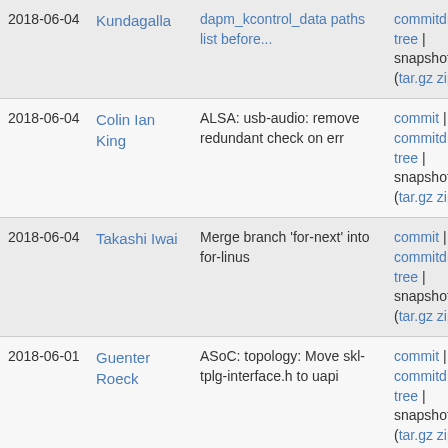| Date | Author | Commit message | Links |
| --- | --- | --- | --- |
| 2018-06-04 | Kundagala | dapm_kcontrol_data paths list before... | commitdiff | tree | snapshot (tar.gz zip) |
| 2018-06-04 | Colin Ian King | ALSA: usb-audio: remove redundant check on err | commit | commitdiff | tree | snapshot (tar.gz zip) |
| 2018-06-04 | Takashi Iwai | Merge branch 'for-next' into for-linus | commit | commitdiff | tree | snapshot (tar.gz zip) |
| 2018-06-01 | Guenter Roeck | ASoC: topology: Move skl-tplg-interface.h to uapi | commit | commitdiff | tree | snapshot (tar.gz zip) |
| 2018-06-01 | Guenter Roeck | ASoC: topology: Move v4 manifest header data structures... | commit | commitdiff | tree | snapshot (tar.gz zip) |